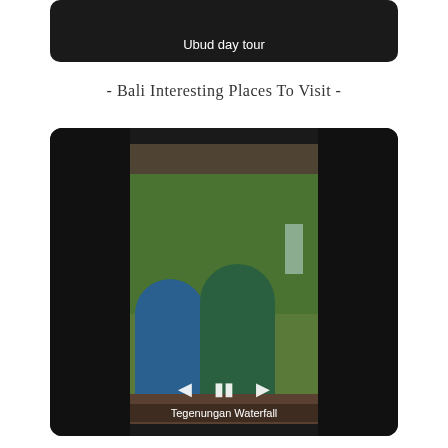[Figure (screenshot): Partially visible video player with dark background showing 'Ubud day tour' label at the bottom]
- Bali Interesting Places To Visit -
[Figure (screenshot): Video player with dark/black background showing two people sitting looking at Tegenungan Waterfall and lush greenery, with playback controls (back, pause, forward) visible. Caption reads 'Tegenungan Waterfall']